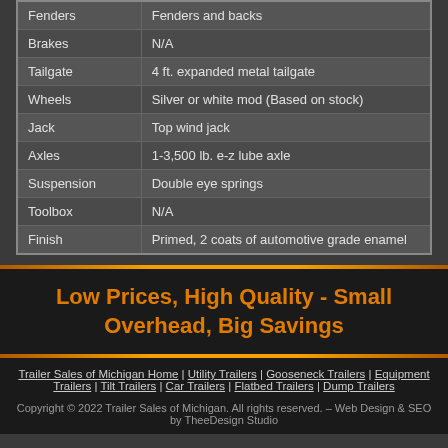| Feature | Detail |
| --- | --- |
| Fenders | Fenders and backs |
| Brakes | N/A |
| Tailgate | 4 ft. expanded metal tailgate |
| Wheels | Silver or white mod (Based on stock) |
| Jack | Top wind jack |
| Axles | 1-3,500 lb. e-z lube axle |
| Suspension | Double eye springs |
| Toolbox | N/A |
| Finish | Primed, 2 coats of automotive grade enamel |
Low Prices, High Quality - Small Overhead, Big Savings
Trailer Sales of Michigan Home | Utility Trailers | Gooseneck Trailers | Equipment Trailers | Tilt Trailers | Car Trailers | Flatbed Trailers | Dump Trailers
Copyright © 2022 Trailer Sales of Michigan. All rights reserved. – Web Design & SEO by TheeDesign Studio